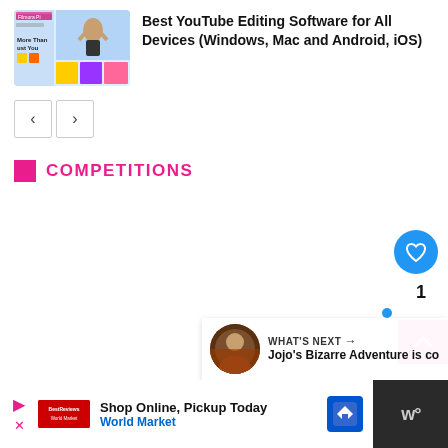[Figure (screenshot): Thumbnail image of YouTube editing software article showing a person with hands raised and editing interface]
Best YouTube Editing Software for All Devices (Windows, Mac and Android, iOS)
[Figure (other): Navigation previous and next arrow buttons]
COMPETITIONS
[Figure (other): Blue circular heart/like button with count of 1 below it]
[Figure (other): Pink scroll-to-top button with upward chevron]
[Figure (other): What's Next panel showing Jojo's Bizarre Adventure thumbnail and partial title text]
[Figure (other): Advertisement banner: Shop Online, Pickup Today - World Market]